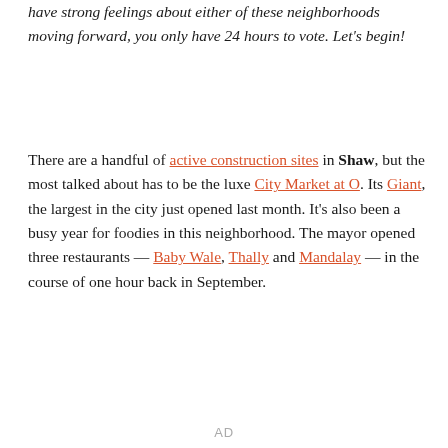have strong feelings about either of these neighborhoods moving forward, you only have 24 hours to vote. Let's begin!
There are a handful of active construction sites in Shaw, but the most talked about has to be the luxe City Market at O. Its Giant, the largest in the city just opened last month. It's also been a busy year for foodies in this neighborhood. The mayor opened three restaurants — Baby Wale, Thally and Mandalay — in the course of one hour back in September.
AD